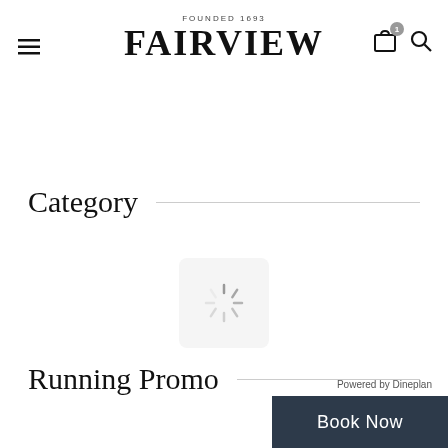FOUNDED 1693 FAIRVIEW
Category
[Figure (illustration): Loading spinner icon inside a rounded white/light grey card]
Running Promo
Powered by Dineplan
Book Now